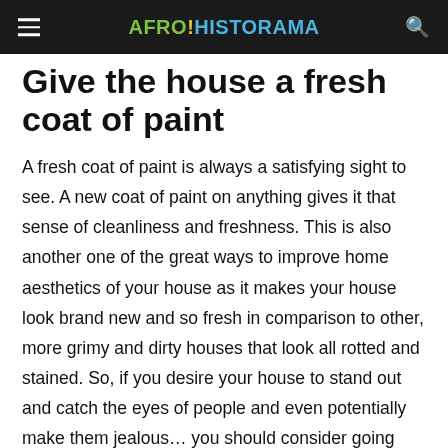AFRO!HISTORAMA
Give the house a fresh coat of paint
A fresh coat of paint is always a satisfying sight to see. A new coat of paint on anything gives it that sense of cleanliness and freshness. This is also another one of the great ways to improve home aesthetics of your house as it makes your house look brand new and so fresh in comparison to other, more grimy and dirty houses that look all rotted and stained. So, if you desire your house to stand out and catch the eyes of people and even potentially make them jealous… you should consider going down, grabbing a huge paint roller and a huge tank of paint and splashing a new, fresh, bright coat of paint on to your house!